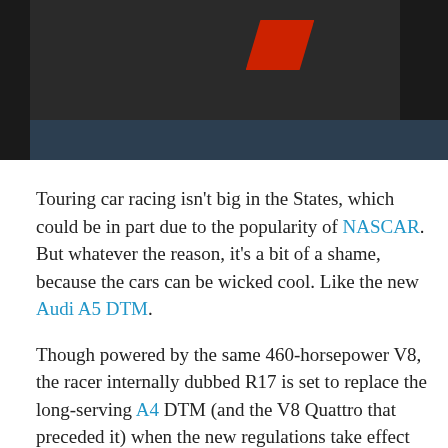[Figure (photo): Partial view of a dark racing car with a red element visible, against a dark background with a dark navy bar at the bottom of the image area.]
Touring car racing isn't big in the States, which could be in part due to the popularity of NASCAR. But whatever the reason, it's a bit of a shame, because the cars can be wicked cool. Like the new Audi A5 DTM.
Though powered by the same 460-horsepower V8, the racer internally dubbed R17 is set to replace the long-serving A4 DTM (and the V8 Quattro that preceded it) when the new regulations take effect next season. Then it will line up on grids across Germany alongside the new Mercedes-Benz C-Class DTM Coupe and the fresh M3 DTM entry from BMW in the German touring car series. But while development is still ongoing, we got a good look at the A5 DTM here in Frankfurt.